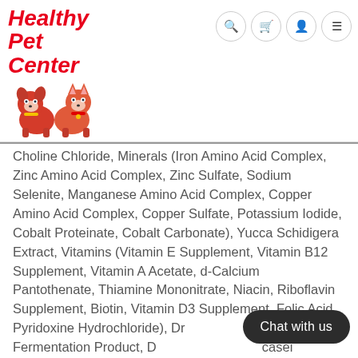Healthy Pet Center
Choline Chloride, Minerals (Iron Amino Acid Complex, Zinc Amino Acid Complex, Zinc Sulfate, Sodium Selenite, Manganese Amino Acid Complex, Copper Amino Acid Complex, Copper Sulfate, Potassium Iodide, Cobalt Proteinate, Cobalt Carbonate), Yucca Schidigera Extract, Vitamins (Vitamin E Supplement, Vitamin B12 Supplement, Vitamin A Acetate, d-Calcium Pantothenate, Thiamine Mononitrate, Niacin, Riboflavin Supplement, Biotin, Vitamin D3 Supplement, Folic Acid, Pyridoxine Hydrochloride), Dried plantarum Fermentation Product, Dried casei Fermentation Product, Dried Enterococcus faecium Fermentation Product, Dried Lactobacillus